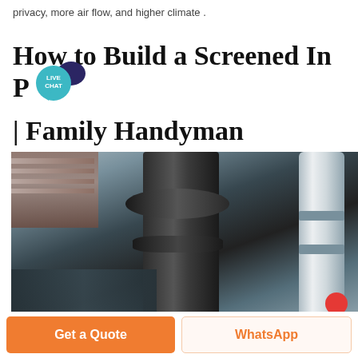privacy, more air flow, and higher climate .
How to Build a Screened In P… | Family Handyman
[Figure (photo): Industrial equipment photo showing large dark cylindrical pipes and flanges with a metal staircase in the background on the left, and a silver ventilation duct pipe on the right, photographed from below looking up in an industrial facility.]
Get a Quote
WhatsApp